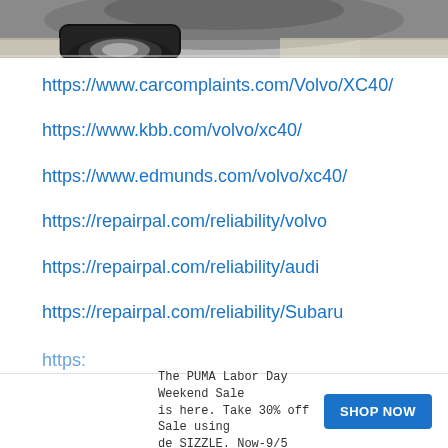[Figure (photo): Partial photo showing a car wheel/tire on pavement, cropped at the bottom of the image strip]
https://www.carcomplaints.com/Volvo/XC40/
https://www.kbb.com/volvo/xc40/
https://www.edmunds.com/volvo/xc40/
https://repairpal.com/reliability/volvo
https://repairpal.com/reliability/audi
https://repairpal.com/reliability/Subaru
https:
The PUMA Labor Day Weekend Sale is here. Take 30% off Sale using de SIZZLE. Now-9/5
SHOP NOW